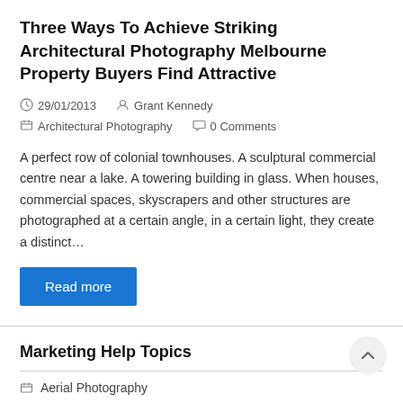Three Ways To Achieve Striking Architectural Photography Melbourne Property Buyers Find Attractive
29/01/2013   Grant Kennedy
Architectural Photography   0 Comments
A perfect row of colonial townhouses. A sculptural commercial centre near a lake. A towering building in glass. When houses, commercial spaces, skyscrapers and other structures are photographed at a certain angle, in a certain light, they create a distinct…
Read more
Marketing Help Topics
Aerial Photography